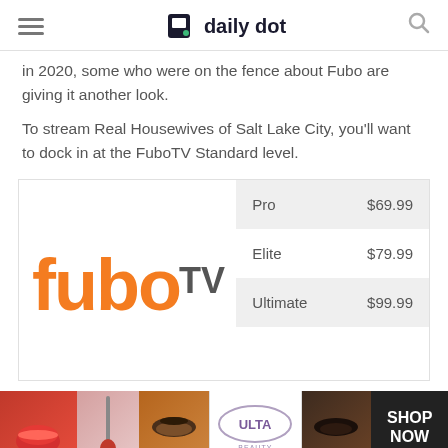daily dot
in 2020, some who were on the fence about Fubo are giving it another look.
To stream Real Housewives of Salt Lake City, you'll want to dock in at the FuboTV Standard level.
| Plan | Price |
| --- | --- |
| Pro | $69.99 |
| Elite | $79.99 |
| Ultimate | $99.99 |
[Figure (logo): FuboTV logo with orange fubo wordmark and TV in dark text]
[Figure (photo): Ulta Beauty advertisement banner with makeup imagery and SHOP NOW call to action]